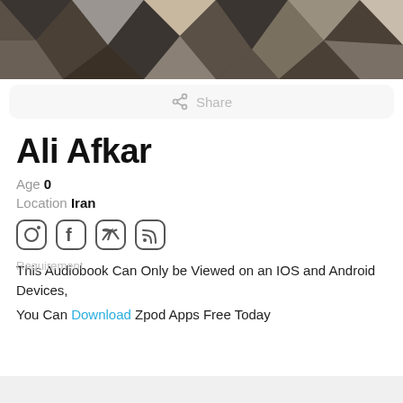[Figure (photo): Dark geometric polygon/crystal pattern background image, dark browns and grays]
[Figure (other): Share button bar with share icon and 'Share' text]
Ali Afkar
Age 0
Location Iran
[Figure (other): Social media icons: Instagram, Facebook, Twitter, RSS feed]
Requirement
This Audiobook Can Only be Viewed on an IOS and Android Devices,
You Can Download Zpod Apps Free Today